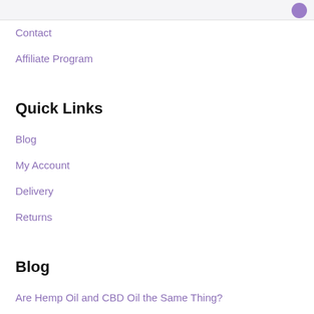Contact
Affiliate Program
Quick Links
Blog
My Account
Delivery
Returns
Blog
Are Hemp Oil and CBD Oil the Same Thing?
CBD and Blood Pressure: A New Way to Manage Hypertension